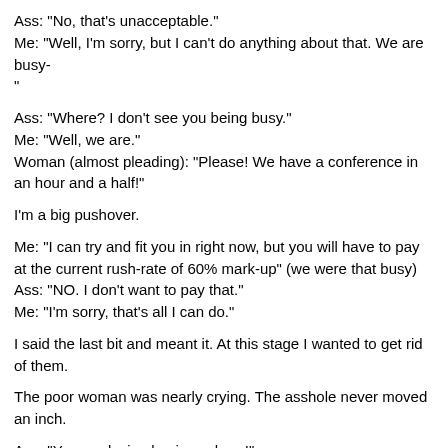Ass: "No, that's unacceptable."
Me: "Well, I'm sorry, but I can't do anything about that. We are busy-"
Ass: "Where? I don't see you being busy."
Me: "Well, we are."
Woman (almost pleading): "Please! We have a conference in an hour and a half!"
I'm a big pushover.
Me: "I can try and fit you in right now, but you will have to pay at the current rush-rate of 60% mark-up" (we were that busy)
Ass: "NO. I don't want to pay that."
Me: "I'm sorry, that's all I can do."
I said the last bit and meant it. At this stage I wanted to get rid of them.
The poor woman was nearly crying. The asshole never moved an inch.
Ass: "You are losing business here!"
Me: "Not really."